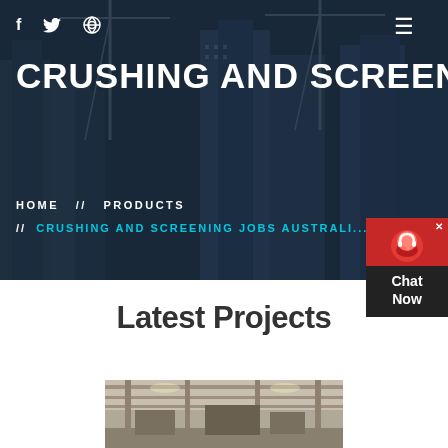[Figure (photo): Hero banner showing construction site with cranes and high-rise buildings under a dark overlay]
f  twitter  dribbble  ≡
CRUSHING AND SCREENING JOB
HOME // PRODUCTS
// CRUSHING AND SCREENING JOBS AUSTRALI...
[Figure (other): Red chat widget with headset icon and Chat Now text]
Latest Projects
[Figure (photo): Construction or industrial facility interior showing machinery and structure]